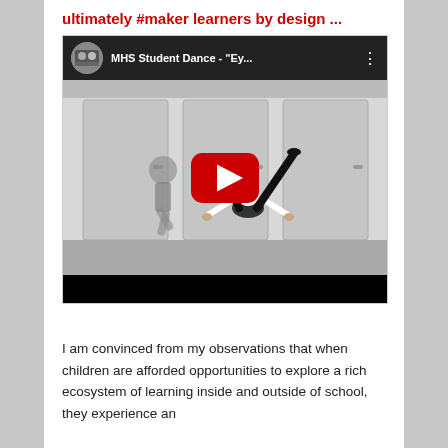ultimately #maker learners by design ...
[Figure (screenshot): Embedded YouTube video player showing MHS Student Dance - "Ey..." with a play button overlay. The video thumbnail shows dancers performing in what appears to be a school hallway.]
I am convinced from my observations that when children are afforded opportunities to explore a rich ecosystem of learning inside and outside of school, they experience an